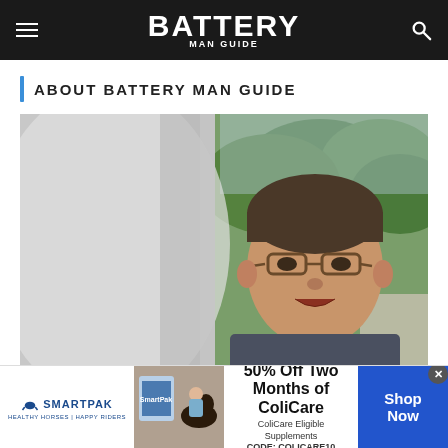BATTERY MAN GUIDE
ABOUT BATTERY MAN GUIDE
[Figure (photo): Man with glasses speaking outdoors near a white fabric surface, with trees in background]
[Figure (photo): SmartPak advertisement: 50% Off Two Months of ColiCare, CODE: COLICARE10, with horse and rider image]